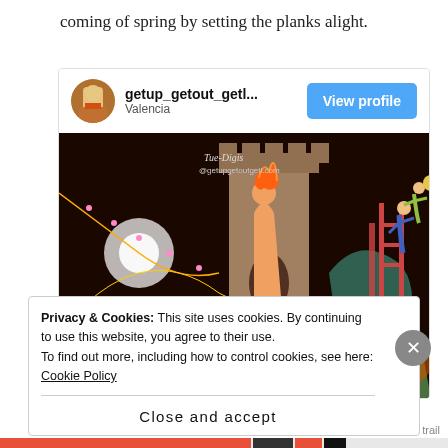coming of spring by setting the planks alight.
[Figure (screenshot): Instagram embed card showing user getup_getout_getl... from Valencia with a View profile button and a nighttime festival photo with colorful sculptures and a tower lit up. Text on image reads 'lla en Plom-G de Caste'.]
Privacy & Cookies: This site uses cookies. By continuing to use this website, you agree to their use.
To find out more, including how to control cookies, see here: Cookie Policy
Close and accept